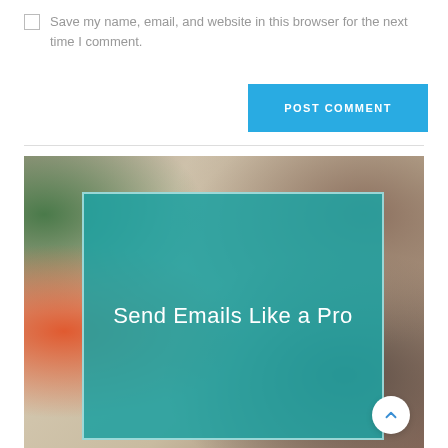Save my name, email, and website in this browser for the next time I comment.
POST COMMENT
[Figure (illustration): A blurred background image with a teal/blue-green card overlay containing the text 'Send Emails Like a Pro' in white. A circular scroll-up button is visible in the bottom right corner.]